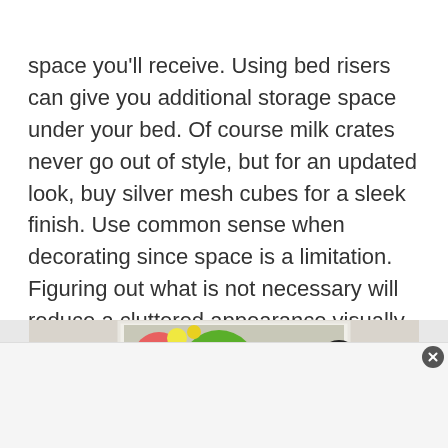space you'll receive. Using bed risers can give you additional storage space under your bed. Of course milk crates never go out of style, but for an updated look, buy silver mesh cubes for a sleek finish. Use common sense when decorating since space is a limitation. Figuring out what is not necessary will reduce a cluttered appearance visually maximizing your space.
[Figure (photo): Partial view of a colorful abstract artwork with circular and floral shapes in yellow, pink, green, and black, displayed in a white frame against a light background.]